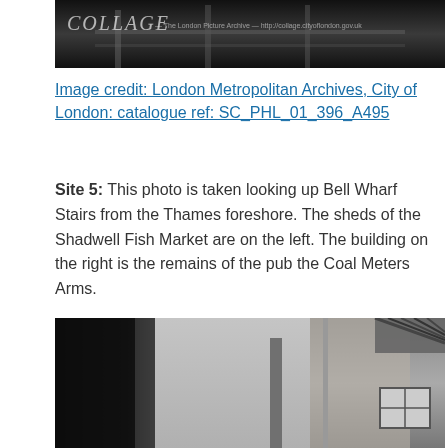[Figure (photo): Top portion of a black and white historical photograph showing a waterfront scene with COLLAGE - The London Picture Archive watermark overlay]
Image credit: London Metropolitan Archives, City of London: catalogue ref: SC_PHL_01_396_A495
Site 5: This photo is taken looking up Bell Wharf Stairs from the Thames foreshore. The sheds of the Shadwell Fish Market are on the left. The building on the right is the remains of the pub the Coal Meters Arms.
[Figure (photo): Black and white photograph taken looking up Bell Wharf Stairs from the Thames foreshore, showing dark stone walls on the left, open sky in the middle, and brick buildings with windows on the right]